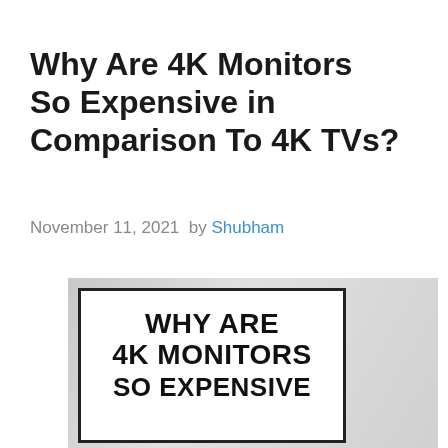Why Are 4K Monitors So Expensive in Comparison To 4K TVs?
November 11, 2021 by Shubham
[Figure (photo): A monitor/frame displaying bold text: WHY ARE 4K MONITORS SO EXPENSIVE, shown against a grey gradient background]